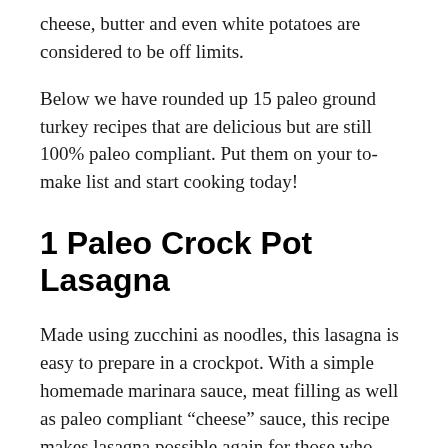cheese, butter and even white potatoes are considered to be off limits.
Below we have rounded up 15 paleo ground turkey recipes that are delicious but are still 100% paleo compliant. Put them on your to-make list and start cooking today!
1 Paleo Crock Pot Lasagna
Made using zucchini as noodles, this lasagna is easy to prepare in a crockpot. With a simple homemade marinara sauce, meat filling as well as paleo compliant “cheese” sauce, this recipe makes lasagna possible again for those who follow a paleo diet!